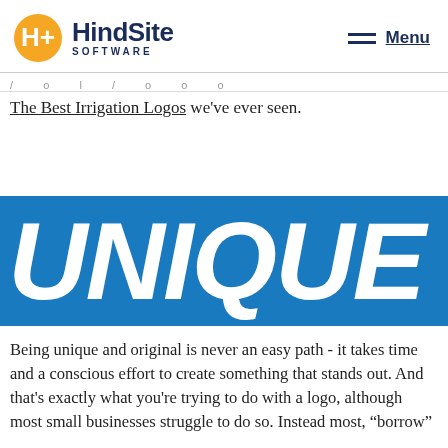HindSite SOFTWARE | Menu
/ o l / o o o
The Best Irrigation Logos we've ever seen.
[Figure (infographic): Blue banner with large white bold italic text reading UNIQUE]
Being unique and original is never an easy path - it takes time and a conscious effort to create something that stands out. And that's exactly what you're trying to do with a logo, although most small businesses struggle to do so. Instead most, "borrow"